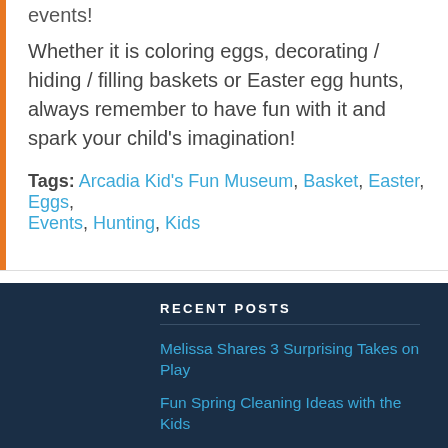events!
Whether it is coloring eggs, decorating / hiding / filling baskets or Easter egg hunts, always remember to have fun with it and spark your child's imagination!
Tags: Arcadia Kid's Fun Museum, Basket, Easter, Eggs, Events, Hunting, Kids
RECENT POSTS
Melissa Shares 3 Surprising Takes on Play
Fun Spring Cleaning Ideas with the Kids
The Perks of Being an Arcadia Kid's Fun Museum Member
Best Easter Basket Ideas & Traditions